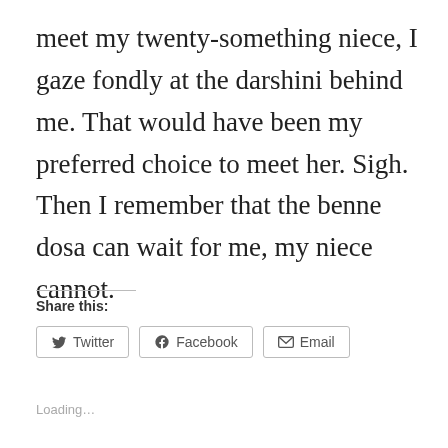meet my twenty-something niece, I gaze fondly at the darshini behind me. That would have been my preferred choice to meet her. Sigh. Then I remember that the benne dosa can wait for me, my niece cannot.
Share this:
Twitter  Facebook  Email
Loading…